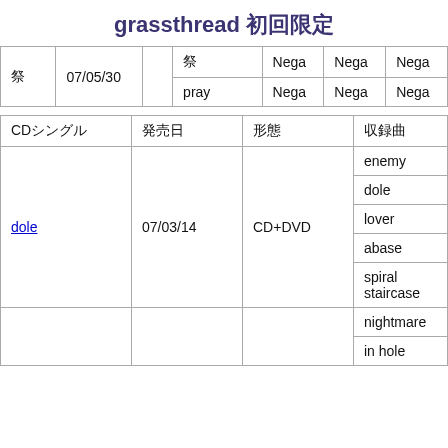grassthread 初回限定
|  | 07/05/30 |  | 曲 | Nega | Nega | Nega |
| --- | --- | --- | --- | --- | --- | --- |
| 祭 | 07/05/30 |  | 祭 | Nega | Nega | Nega |
| 祭 | 07/05/30 |  | pray | Nega | Nega | Nega |
| CDシングル | 発売日 | 形態 | 収録曲 |
| --- | --- | --- | --- |
| dole | 07/03/14 | CD+DVD | enemy |
| dole | 07/03/14 | CD+DVD | dole |
| dole | 07/03/14 | CD+DVD | lover |
| dole | 07/03/14 | CD+DVD | abase |
| dole | 07/03/14 | CD+DVD | spiral staircase |
|  |  |  | nightmare |
|  |  |  | in hole |